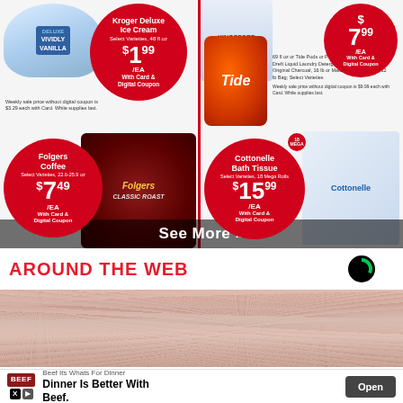[Figure (infographic): Kroger grocery store ad showing: Kroger Deluxe Ice Cream at $1.99/EA with Card & Digital Coupon; Folgers Coffee Select Varieties 22.6-25.9 oz at $7.49/EA with Card & Digital Coupon; top right corner showing $7.99/EA with Card & Digital Coupon for Tide or Kingsford items; Cottonelle Bath Tissue Select Varieties 18 Mega Rolls at $15.99/EA with Card & Digital Coupon. A 'See More »' overlay at the bottom.]
AROUND THE WEB
[Figure (photo): Close-up photo of a person's face covered in salt or sugar crystals, showing nose and lips area]
[Figure (infographic): Bottom advertisement banner: Beef Its Whats For Dinner - Dinner Is Better With Beef. With Open button.]